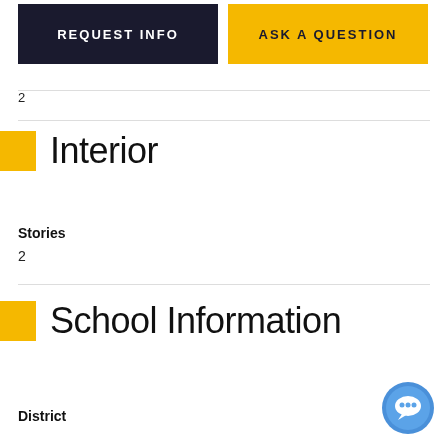REQUEST INFO
ASK A QUESTION
2
Interior
Stories
2
School Information
District